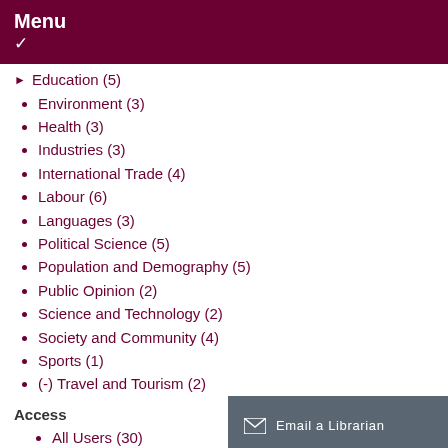Menu
Education (5)
Environment (3)
Health (3)
Industries (3)
International Trade (4)
Labour (6)
Languages (3)
Political Science (5)
Population and Demography (5)
Public Opinion (2)
Science and Technology (2)
Society and Community (4)
Sports (1)
(-) Travel and Tourism (2)
Access
All Users (30)